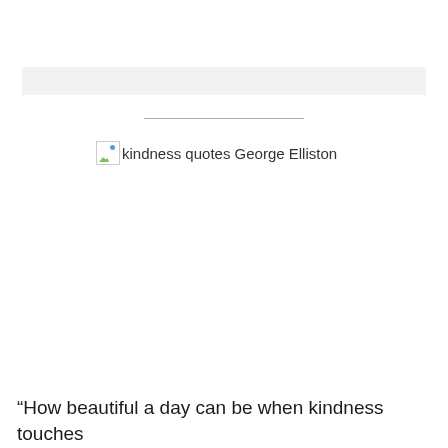[Figure (other): Broken image placeholder with alt text 'kindness quotes George Elliston']
“How beautiful a day can be when kindness touches